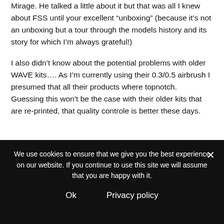Mirage. He talked a little about it but that was all I knew about FSS until your excellent “unboxing” (because it’s not an unboxing but a tour through the models history and its story for which I’m always grateful!)
I also didn’t know about the potential problems with older WAVE kits…. As I’m currently using their 0.3/0.5 airbrush I presumed that all their products where topnotch.
Guessing this won’t be the case with their older kits that are re-printed, that quality controle is better these days.
We use cookies to ensure that we give you the best experience on our website. If you continue to use this site we will assume that you are happy with it.
Ok   Privacy policy